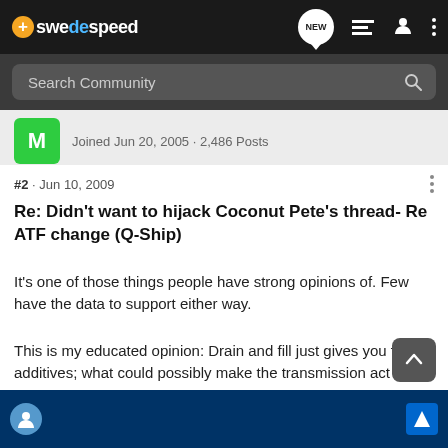swedespeed
Search Community
Joined Jun 20, 2005 · 2,486 Posts
#2 · Jun 10, 2009
Re: Didn't want to hijack Coconut Pete's thread- Re ATF change (Q-Ship)
It's one of those things people have strong opinions of. Few have the data to support either way.
This is my educated opinion: Drain and fill just gives you fresh additives; what could possibly make the transmission act up after it? Flush with engine power (not power flush machine) is the sam... ...et the gunk mo... ...ought to